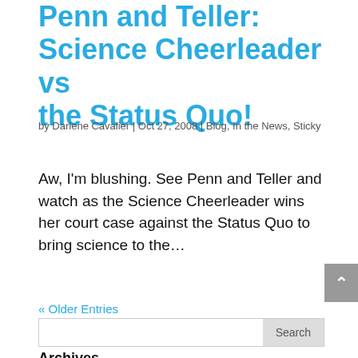Penn and Teller: Science Cheerleader vs the Status Quo!
by Darlene Cavalier | Oct 27, 2008 | Blog, In the News, Sticky
Aw, I'm blushing. See Penn and Teller and watch as the Science Cheerleader wins her court case against the Status Quo to bring science to the…
« Older Entries
Archives